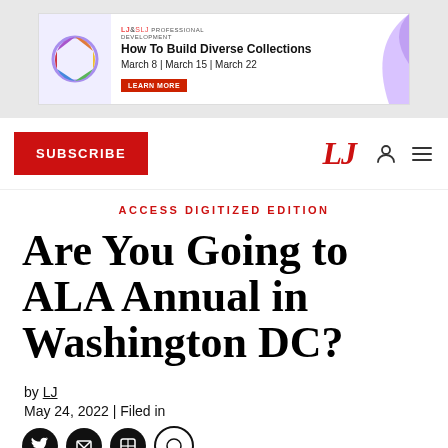[Figure (screenshot): Advertisement banner for LJ & SLJ Professional Development: How To Build Diverse Collections, March 8 | March 15 | March 22, with a LEARN MORE button]
SUBSCRIBE | LJ | (user icon) (menu icon)
ACCESS DIGITIZED EDITION
Are You Going to ALA Annual in Washington DC?
by LJ
May 24, 2022 | Filed in